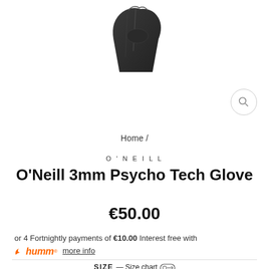[Figure (photo): Partial view of a black O'Neill wetsuit glove, cropped at top of page]
Home /
O'NEILL
O'Neill 3mm Psycho Tech Glove
€50.00
or 4 Fortnightly payments of €10.00 Interest free with humm more info
SIZE — Size chart